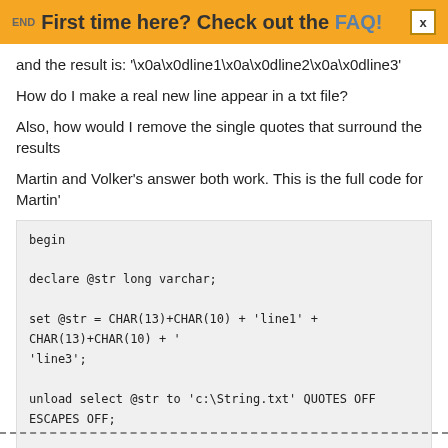END  First time here? Check out the FAQ!
and the result is: '\x0a\x0dline1\x0a\x0dline2\x0a\x0dline3'
How do I make a real new line appear in a txt file?
Also, how would I remove the single quotes that surround the results
Martin and Volker's answer both work. This is the full code for Martin'
begin

declare @str long varchar;

set @str = CHAR(13)+CHAR(10) + 'line1' + CHAR(13)+CHAR(10) + '
'line3';

unload select @str to 'c:\String.txt' QUOTES OFF ESCAPES OFF;

end
string
new-line
string-manipulation
text-file
format
edited 01 Oct '10, 14